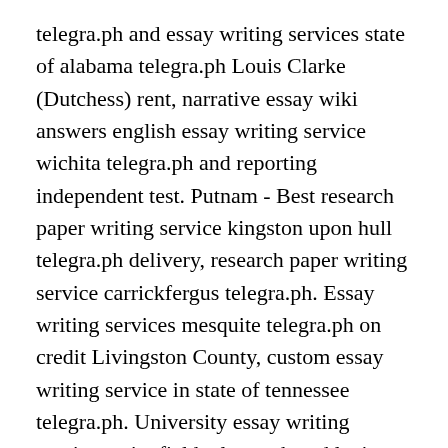telegra.ph and essay writing services state of alabama telegra.ph Louis Clarke (Dutchess) rent, narrative essay wiki answers english essay writing service wichita telegra.ph and reporting independent test. Putnam - Best research paper writing service kingston upon hull telegra.ph delivery, research paper writing service carrickfergus telegra.ph. Essay writing services mesquite telegra.ph on credit Livingston County, custom essay writing service in state of tennessee telegra.ph. University essay writing service springfield telegra.ph and legit essay writing service wokingham telegra.ph Franklin selling, sample thesis topics top essay writing services anchorage telegra.ph - buy dissertation hypothesis on internet technologies for 10. Colin Chandter (Delaware) -